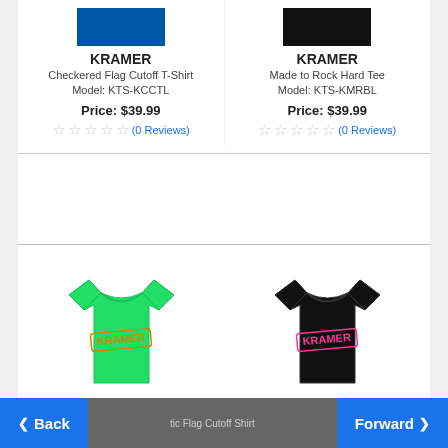[Figure (photo): Blue/dark t-shirt thumbnail image (cropped, top portion visible)]
KRAMER
Checkered Flag Cutoff T-Shirt
Model: KTS-KCCTL
Price: $39.99
★★★★★ (0 Reviews)
[Figure (photo): Black t-shirt thumbnail image (cropped, top portion visible)]
KRAMER
Made to Rock Hard Tee
Model: KTS-KMRBL
Price: $39.99
★★★★★ (0 Reviews)
[Figure (photo): Green Kramer logo t-shirt]
KRAMER
[Figure (photo): Black Kramer logo t-shirt]
KRAMER
◀ Back    Forward ▶